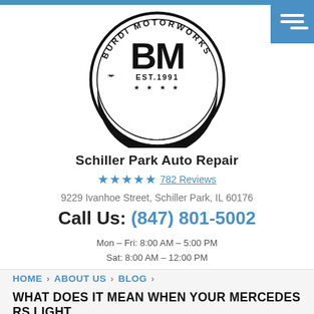[Figure (logo): Burdi Motorworks circular logo with 'BM' initials, 'EST. 1991', stars, and 'Automotive Service Center' text]
Schiller Park Auto Repair
★★★★★ 782 Reviews
9229 Ivanhoe Street, Schiller Park, IL 60176
Call Us: (847) 801-5002
Mon – Fri: 8:00 AM – 5:00 PM
Sat: 8:00 AM – 12:00 PM
HOME > ABOUT US > BLOG >
WHAT DOES IT MEAN WHEN YOUR MERCEDES RS LIGHT